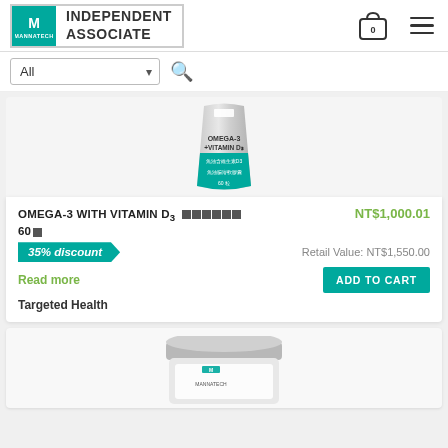[Figure (logo): Mannatech Independent Associate logo with teal M icon and text]
ALL dropdown filter with search icon
[Figure (photo): Omega-3 with Vitamin D3 product pouch image]
OMEGA-3 WITH VITAMIN D3 [redacted] NT$1,000.01
60[redacted]
35% discount    Retail Value: NT$1,550.00
Read more
Targeted Health
[Figure (photo): Second product jar image partially visible]